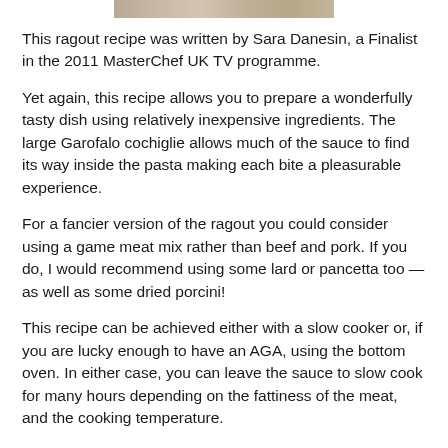[Figure (photo): Top portion of a food photo, cropped — showing a strip of a dish (ragout with pasta).]
This ragout recipe was written by Sara Danesin, a Finalist in the 2011 MasterChef UK TV programme.
Yet again, this recipe allows you to prepare a wonderfully tasty dish using relatively inexpensive ingredients. The large Garofalo cochiglie allows much of the sauce to find its way inside the pasta making each bite a pleasurable experience.
For a fancier version of the ragout you could consider using a game meat mix rather than beef and pork. If you do, I would recommend using some lard or pancetta too — as well as some dried porcini!
This recipe can be achieved either with a slow cooker or, if you are lucky enough to have an AGA, using the bottom oven. In either case, you can leave the sauce to slow cook for many hours depending on the fattiness of the meat, and the cooking temperature.
Alternatively, you can...